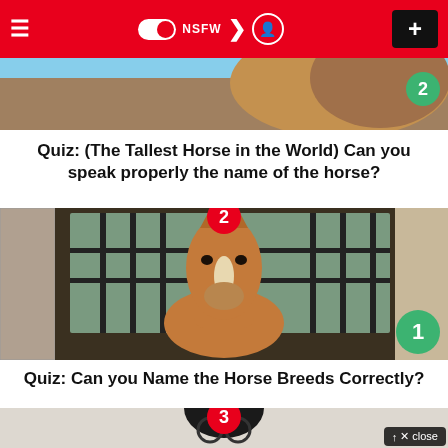[Figure (screenshot): Mobile app navigation bar with red background, hamburger menu, NSFW toggle, half-moon icon, user icon, and plus button]
[Figure (photo): Partial image of a horse at the top of the feed, with a green badge showing number 2]
Quiz: (The Tallest Horse in the World) Can you speak properly the name of the horse?
[Figure (photo): A brown horse looking out from a stable window, with a red badge showing 2 at top and green badge showing 1 at bottom right]
Quiz: Can you Name the Horse Breeds Correctly?
[Figure (photo): Partial image at bottom of a person with glasses and dark hair, with red badge showing 3, and a close button overlay]